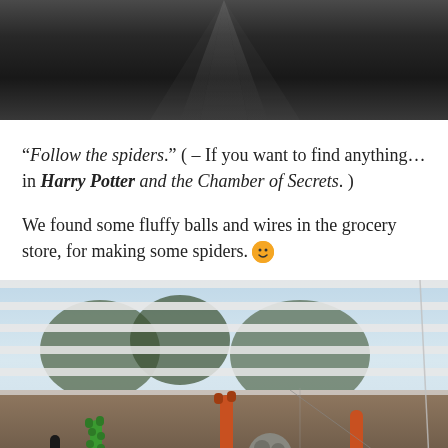[Figure (photo): Dark overhead photo, possibly a ceiling or dark wooden surface with light streaks]
“Follow the spiders.” ( – If you want to find anything… in Harry Potter and the Chamber of Secrets. )
We found some fluffy balls and wires in the grocery store, for making some spiders. 🙂
[Figure (photo): Photo showing window blinds with trees visible outside, and colorful pipe cleaners (green, orange, black) in the foreground being used to make spiders]